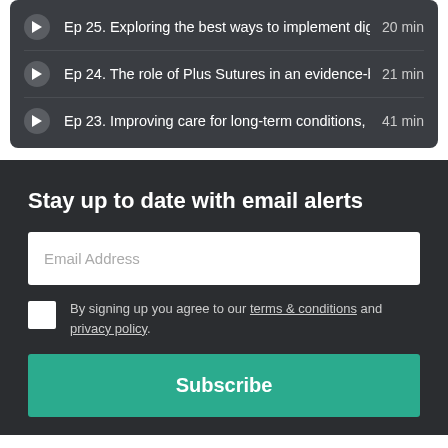Ep 25. Exploring the best ways to implement digi... 20 min
Ep 24. The role of Plus Sutures in an evidence-b... 21 min
Ep 23. Improving care for long-term conditions, ... 41 min
Stay up to date with email alerts
Email Address
By signing up you agree to our terms & conditions and privacy policy.
Subscribe